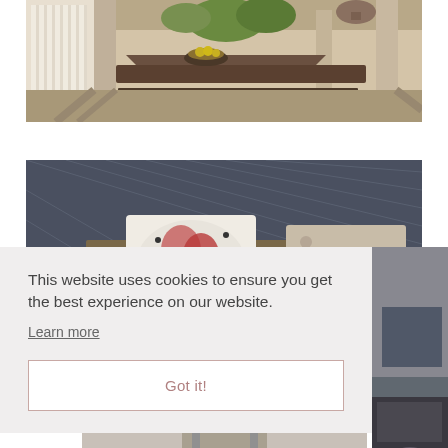[Figure (photo): Outdoor rustic dining area with long wooden table, stone pillars, hanging plants, and natural light through curtains]
[Figure (photo): Outdoor seating area with decorative embroidered cushions on a wooden bench, lattice shadows, and rustic wooden furniture]
This website uses cookies to ensure you get the best experience on our website.
Learn more
Got it!
[Figure (photo): Partial view of interior scene at bottom of page]